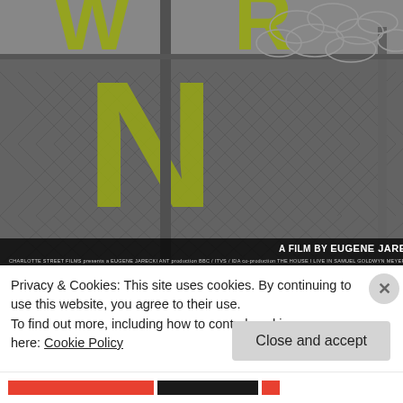[Figure (photo): Movie poster/still showing a chain-link fence with barbed wire on top, in black and white with yellow-green lettering visible through the fence. Text at bottom right reads 'A FILM BY EUGENE JARECKI' with production credits below.]
Privacy & Cookies: This site uses cookies. By continuing to use this website, you agree to their use.
To find out more, including how to control cookies, see here: Cookie Policy
Close and accept